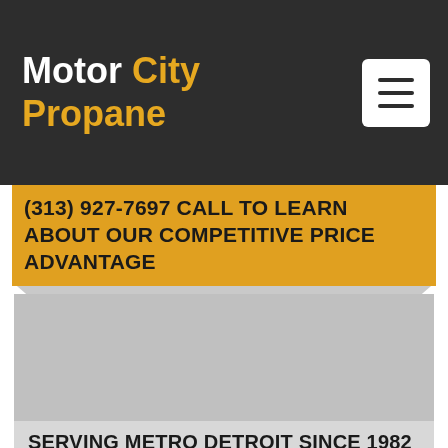Motor City Propane
(313) 927-7697 CALL TO LEARN ABOUT OUR COMPETITIVE PRICE ADVANTAGE
[Figure (photo): Gray placeholder image of a Metro Detroit scene or propane-related photo]
SERVING METRO DETROIT SINCE 1982
MOTOR CITY PROPANE IS YOUR LOCAL DETROIT SOLUTION FOR HEATING, COOLING, COOKING, LIGHTING AND ALL THINGS THAT